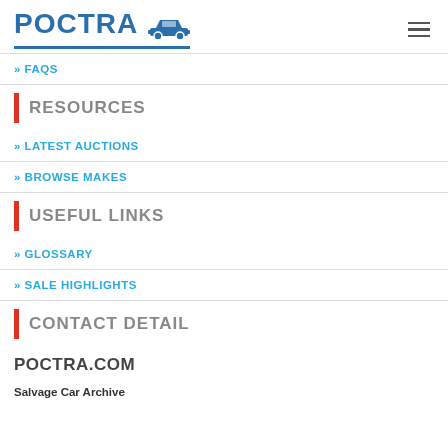POCTRA [car icon]
» FAQS
RESOURCES
» LATEST AUCTIONS
» BROWSE MAKES
USEFUL LINKS
» GLOSSARY
» SALE HIGHLIGHTS
CONTACT DETAIL
POCTRA.COM
Salvage Car Archive